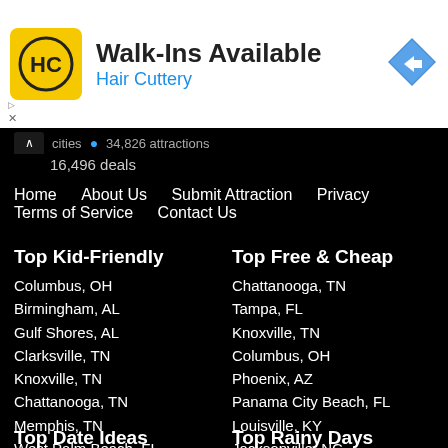[Figure (logo): Hair Cuttery ad banner with HC logo, Walk-Ins Available text, and navigation arrow icon]
cities  •  34,826 attractions
16,496 deals
Home
About Us
Submit Attraction
Privacy
Terms of Service
Contact Us
Top Kid-Friendly
Columbus, OH
Birmingham, AL
Gulf Shores, AL
Clarksville, TN
Knoxville, TN
Chattanooga, TN
Memphis, TN
West Palm Beach, FL
Top Free & Cheap
Chattanooga, TN
Tampa, FL
Knoxville, TN
Columbus, OH
Phoenix, AZ
Panama City Beach, FL
Louisville, KY
Jacksonville, NC
Top Date Ideas
Top Rainy Days